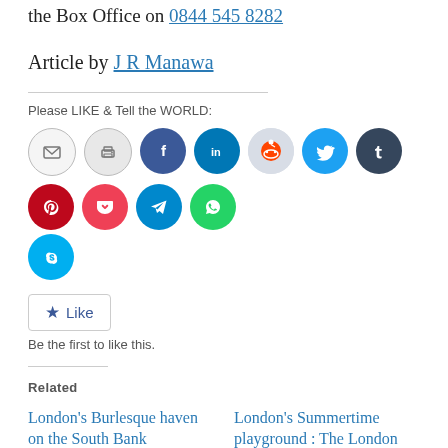the Box Office on 0844 545 8282
Article by J R Manawa
Please LIKE & Tell the WORLD:
[Figure (other): Row of social media share icon buttons: email, print, Facebook, LinkedIn, Reddit, Twitter, Tumblr, Pinterest, Pocket, Telegram, WhatsApp, Skype]
[Figure (other): WordPress Like button with star icon and text 'Like']
Be the first to like this.
Related
London's Burlesque haven on the South Bank
May 23, 2016
London's Summertime playground : The London Wonderground